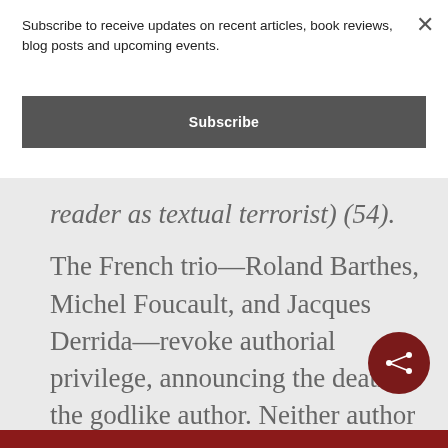Subscribe to receive updates on recent articles, book reviews, blog posts and upcoming events.
Subscribe
reader as textual terrorist) (54).
The French trio—Roland Barthes, Michel Foucault, and Jacques Derrida—revoke authorial privilege, announcing the death of the godlike author. Neither author nor reader should be apotheosized; both are finite “cocreators of textual meaning”